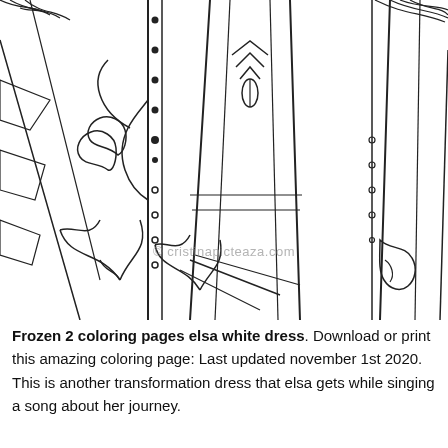[Figure (illustration): A coloring page illustration showing Elsa's white dress from Frozen 2, featuring flowing fabric panels with decorative Nordic/floral motifs, a braided rope/bead detail on the left, leaf ornaments, and stylized plant designs. The image is a black and white line drawing intended for coloring. A watermark reads '© cristinapicteaza.com'.]
Frozen 2 coloring pages elsa white dress. Download or print this amazing coloring page: Last updated november 1st 2020. This is another transformation dress that elsa gets while singing a song about her journey.